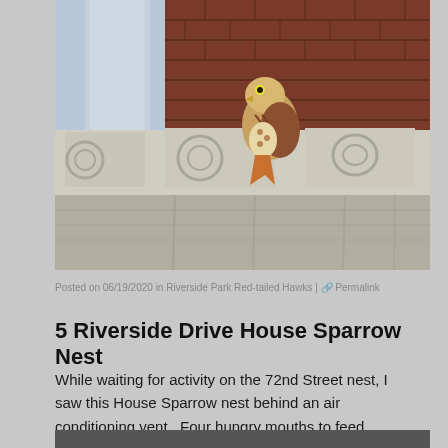[Figure (photo): A young hawk (fledgling red-tailed hawk) perched on ornate stone cornice of a brick building. The cornice features decorative scrollwork. Sky visible on the left side.]
Posted on 06/19/2020 in Riverside Park Red-tailed Hawks | 🔗 Permalink
5 Riverside Drive House Sparrow Nest
While waiting for activity on the 72nd Street nest, I saw this House Sparrow nest behind an air conditioning vent.  Four hungry mouths to feed.